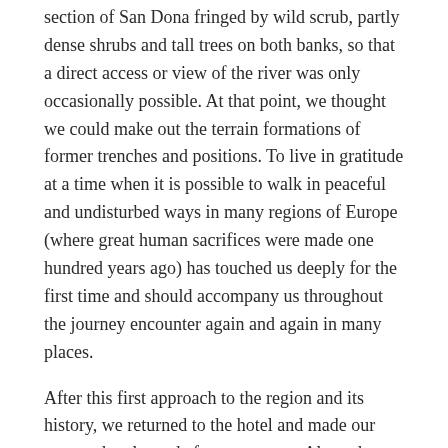section of San Dona fringed by wild scrub, partly dense shrubs and tall trees on both banks, so that a direct access or view of the river was only occasionally possible. At that point, we thought we could make out the terrain formations of former trenches and positions. To live in gratitude at a time when it is possible to walk in peaceful and undisturbed ways in many regions of Europe (where great human sacrifices were made one hundred years ago) has touched us deeply for the first time and should accompany us throughout the journey encounter again and again in many places.
After this first approach to the region and its history, we returned to the hotel and made our way to the planned afternoon stage. Along the Piave we drove upstream in the direction of Montello, the destination for the afternoon. In addition to the right bank of the Piave in the area of San Dona, the Montello was also a target that the O.-u. Troops were able to capture and hold for a few